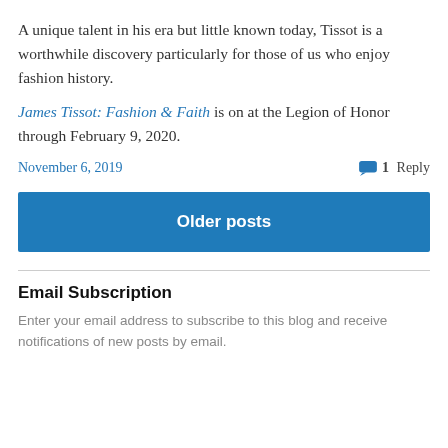A unique talent in his era but little known today, Tissot is a worthwhile discovery particularly for those of us who enjoy fashion history.
James Tissot: Fashion & Faith is on at the Legion of Honor through February 9, 2020.
November 6, 2019    1 Reply
Older posts
Email Subscription
Enter your email address to subscribe to this blog and receive notifications of new posts by email.